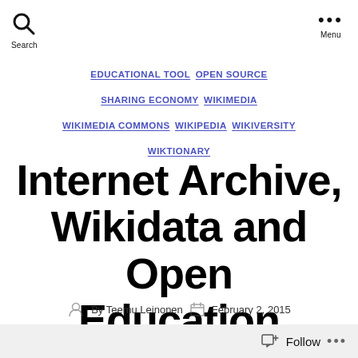Search | Menu
EDUCATIONAL TOOL  OPEN SOURCE  SHARING ECONOMY  WIKIMEDIA  WIKIMEDIA COMMONS  WIKIPEDIA  WIKIVERSITY  WIKTIONARY
Internet Archive, Wikidata and Open Education
By Teemu Leinonen  February 2, 2015